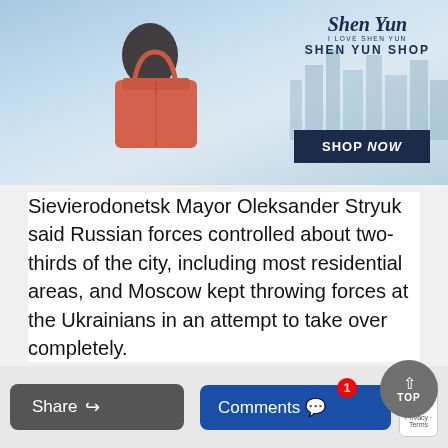[Figure (photo): Advertisement banner for Shen Yun Shop showing a woman holding an orange/coral handbag against a city skyline background, with 'SHEN YUN SHOP' branding and a 'SHOP NOW' button]
Sievierodonetsk Mayor Oleksander Stryuk said Russian forces controlled about two-thirds of the city, including most residential areas, and Moscow kept throwing forces at the Ukrainians in an attempt to take over completely.
International concern has focused on trying to restore Ukrainian exports of food. Ukraine is one of